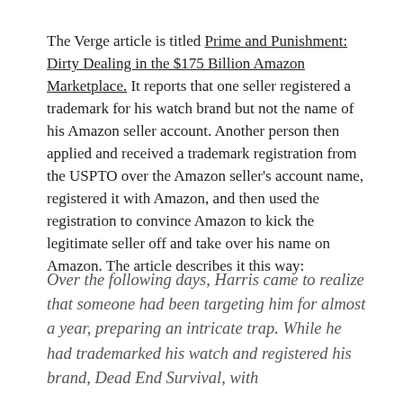The Verge article is titled Prime and Punishment: Dirty Dealing in the $175 Billion Amazon Marketplace. It reports that one seller registered a trademark for his watch brand but not the name of his Amazon seller account. Another person then applied and received a trademark registration from the USPTO over the Amazon seller's account name, registered it with Amazon, and then used the registration to convince Amazon to kick the legitimate seller off and take over his name on Amazon. The article describes it this way:
Over the following days, Harris came to realize that someone had been targeting him for almost a year, preparing an intricate trap. While he had trademarked his watch and registered his brand, Dead End Survival, with